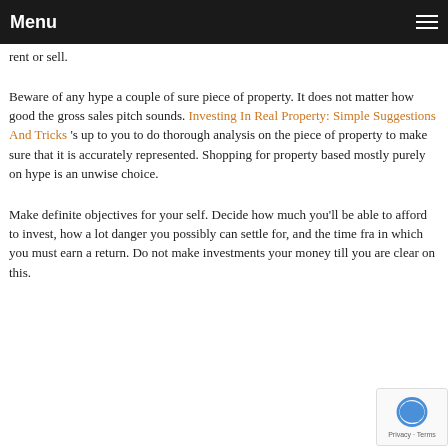Menu
rent or sell.
Beware of any hype a couple of sure piece of property. It does not matter how good the gross sales pitch sounds. Investing In Real Property: Simple Suggestions And Tricks 's up to you to do thorough analysis on the piece of property to make sure that it is accurately represented. Shopping for property based mostly purely on hype is an unwise choice.
Make definite objectives for your self. Decide how much you'll be able to afford to invest, how a lot danger you possibly can settle for, and the time fra in which you must earn a return. Do not make investments your money till you are clear on this.